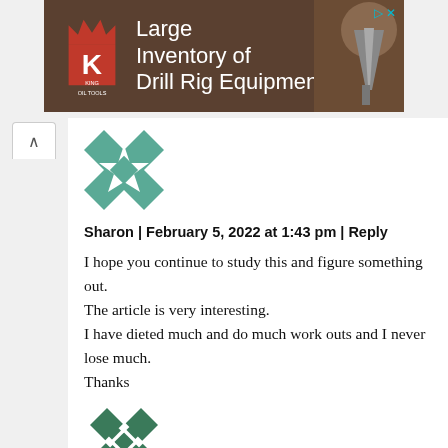[Figure (screenshot): King Oil Tools advertisement banner: 'Large Inventory of Drill Rig Equipment' with logo and drill bit image]
[Figure (illustration): Green and white geometric quilt-pattern avatar for user Sharon]
Sharon | February 5, 2022 at 1:43 pm | Reply
I hope you continue to study this and figure something out.
The article is very interesting.
I have dieted much and do much work outs and I never lose much.
Thanks
[Figure (illustration): Green and white geometric quilt-pattern avatar for second commenter]